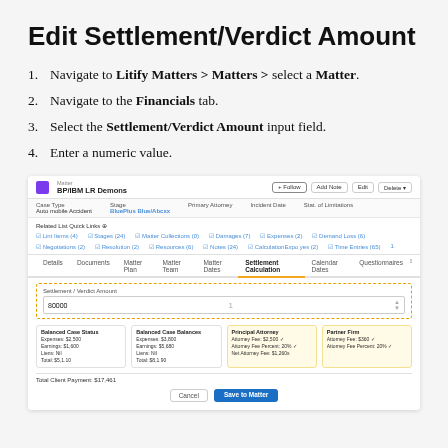Edit Settlement/Verdict Amount
Navigate to Litify Matters > Matters > select a Matter.
Navigate to the Financials tab.
Select the Settlement/Verdict Amount input field.
Enter a numeric value.
[Figure (screenshot): Screenshot of Litify matter page showing Settlement Calculation tab with Settlement/Verdict Amount field highlighted in a dashed orange border with value '80000', along with related case status cards and bottom action buttons.]